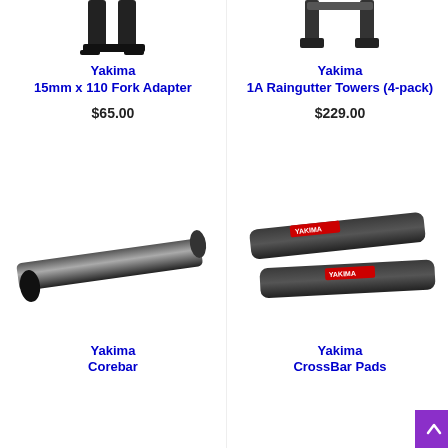[Figure (photo): Yakima 15mm x 110 Fork Adapter product photo (top portion visible)]
Yakima
15mm x 110 Fork Adapter
$65.00
[Figure (photo): Yakima 1A Raingutter Towers (4-pack) product photo (top portion visible)]
Yakima
1A Raingutter Towers (4-pack)
$229.00
[Figure (photo): Yakima Corebar product photo - black cylindrical crossbar]
Yakima
Corebar
[Figure (photo): Yakima CrossBar Pads product photo - two black padded bars with Yakima branding]
Yakima
CrossBar Pads